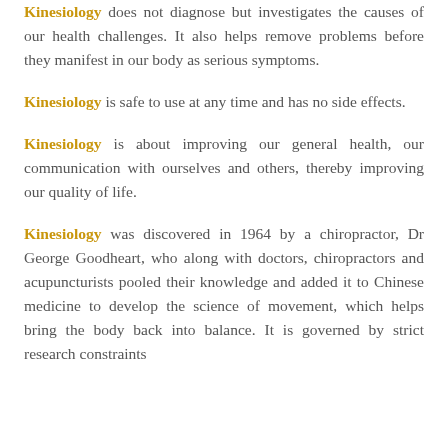Kinesiology does not diagnose but investigates the causes of our health challenges. It also helps remove problems before they manifest in our body as serious symptoms.
Kinesiology is safe to use at any time and has no side effects.
Kinesiology is about improving our general health, our communication with ourselves and others, thereby improving our quality of life.
Kinesiology was discovered in 1964 by a chiropractor, Dr George Goodheart, who along with doctors, chiropractors and acupuncturists pooled their knowledge and added it to Chinese medicine to develop the science of movement, which helps bring the body back into balance. It is governed by strict research constraints